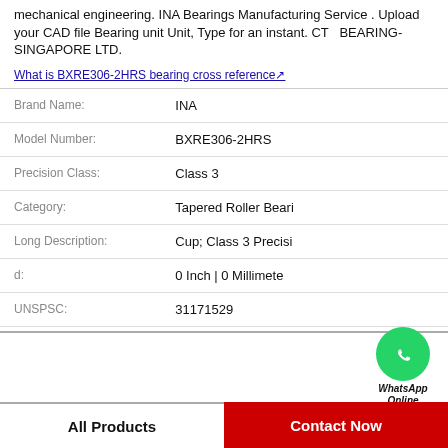mechanical engineering. INA Bearings Manufacturing Service . Upload your CAD file Bearing unit Unit, Type for an instant. CT  BEARING-SINGAPORE LTD.
What is BXRE306-2HRS bearing cross reference↗
| Field | Value |
| --- | --- |
| Brand Name: | INA |
| Model Number: | BXRE306-2HRS |
| Precision Class: | Class 3 |
| Category: | Tapered Roller Beari |
| Long Description: | Cup; Class 3 Precisi |
| d: | 0 Inch | 0 Millimete |
| UNSPSC: | 31171529 |
[Figure (logo): WhatsApp Online green circle phone icon with WhatsApp Online label]
All Products
Contact Now